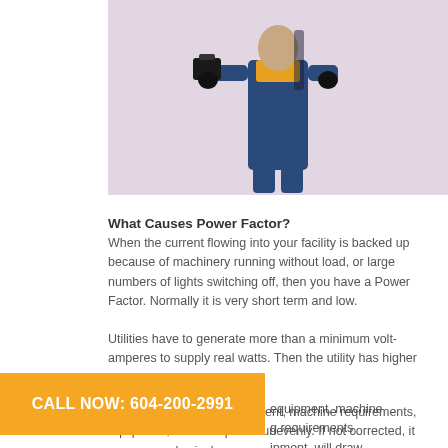[Figure (photo): A worker in blue overalls and yellow top holding a toolbox, wearing black gloves, standing against a light pinkish-grey background.]
What Causes Power Factor?
When the current flowing into your facility is backed up because of machinery running without load, or large numbers of lights switching off, then you have a Power Factor. Normally it is very short term and low.
Utilities have to generate more than a minimum volt-amperes to supply real watts. Then the utility has higher costs.
...equipment, machine requirements, equipment, will draw power unevenly. If not corrected, it can cause physical
[Figure (infographic): Orange call-to-action banner reading: CALL NOW: 604-200-2991]